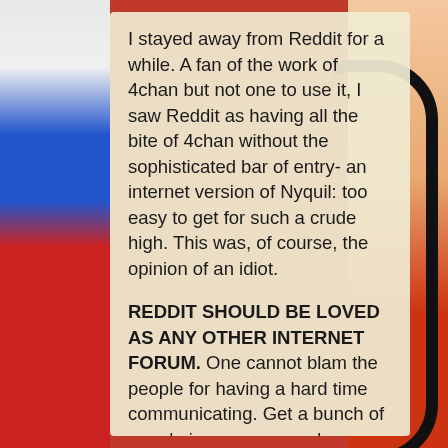I stayed away from Reddit for a while. A fan of the work of 4chan but not one to use it, I saw Reddit as having all the bite of 4chan without the sophisticated bar of entry- an internet version of Nyquil: too easy to get for such a crude high. This was, of course, the opinion of an idiot.
REDDIT SHOULD BE LOVED AS ANY OTHER INTERNET FORUM. One cannot blam the people for having a hard time communicating. Get a bunch of people in any room and someone is going to get confused and frustrated at some point.